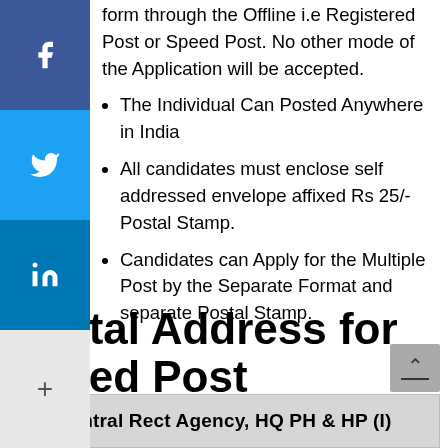form through the Offline i.e Registered Post or Speed Post. No other mode of the Application will be accepted.
The Individual Can Posted Anywhere in India
All candidates must enclose self addressed envelope affixed Rs 25/- Postal Stamp.
Candidates can Apply for the Multiple Post by the Separate Format and separate Postal Stamp.
Postal Address for Speed Post
| Central Rect Agency, HQ PH & HP (I) |
| --- |